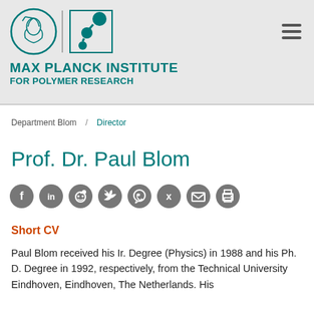[Figure (logo): Max Planck Institute for Polymer Research logo: circular emblem with Minerva head, vertical separator, teal molecule/network icon in square, with institute name below in teal]
Department Blom / Director
Prof. Dr. Paul Blom
[Figure (infographic): Row of 8 circular social media share/action icons: Facebook, LinkedIn, Reddit, Twitter, WhatsApp, Xing, Email, Print]
Short CV
Paul Blom received his Ir. Degree (Physics) in 1988 and his Ph. D. Degree in 1992, respectively, from the Technical University Eindhoven, Eindhoven, The Netherlands. His